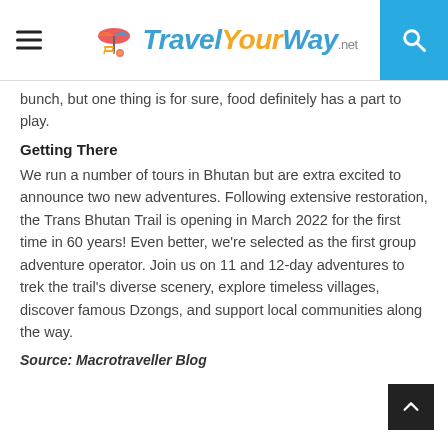Travel Your Way .net
bunch, but one thing is for sure, food definitely has a part to play.
Getting There
We run a number of tours in Bhutan but are extra excited to announce two new adventures. Following extensive restoration, the Trans Bhutan Trail is opening in March 2022 for the first time in 60 years! Even better, we're selected as the first group adventure operator. Join us on 11 and 12-day adventures to trek the trail's diverse scenery, explore timeless villages, discover famous Dzongs, and support local communities along the way.
Source: Macrotraveller Blog